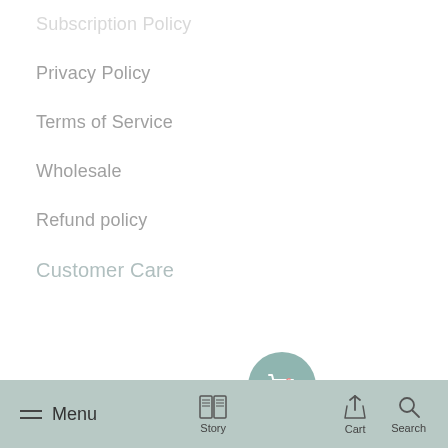Subscription Policy
Privacy Policy
Terms of Service
Wholesale
Refund policy
Customer Care
[Figure (photo): Family photo with man, woman, and two children standing in front of a building]
Get to know about us
Menu   Story   Cart   Search